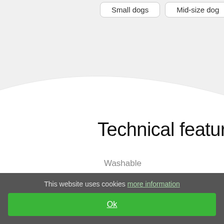[Figure (screenshot): Top navigation area with light gray background showing two buttons: 'Small dogs' and 'Mid-size dog' (partially visible), with a curved wave divider at the bottom]
Technical features
| Washable |
| Material |
| Size |
This website uses cookies more information
Ok